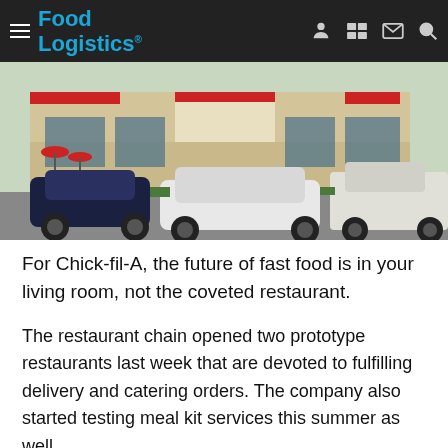Food Logistics
[Figure (photo): Exterior of a Chick-fil-A fast food restaurant with cars parked in front drive-through area. Red and white signage visible on building facade.]
For Chick-fil-A, the future of fast food is in your living room, not the coveted restaurant.
The restaurant chain opened two prototype restaurants last week that are devoted to fulfilling delivery and catering orders. The company also started testing meal kit services this summer as well.
Chick-fil-A is staying ahead of the e-commerce trend by getting creative on how to reach people at home, work and